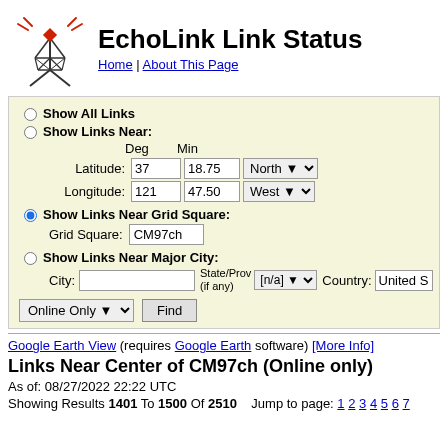EchoLink Link Status
Home | About This Page
Show All Links
Show Links Near:
Deg Min
Latitude: 37 18.75 North
Longitude: 121 47.50 West
Show Links Near Grid Square:
Grid Square: CM97ch
Show Links Near Major City:
City: State/Prov (if any) [n/a] Country: United S
Online Only  Find
Google Earth View (requires Google Earth software) [More Info]
Links Near Center of CM97ch (Online only)
As of: 08/27/2022 22:22 UTC
Showing Results 1401 To 1500 Of 2510   Jump to page: 1 2 3 4 5 6 7